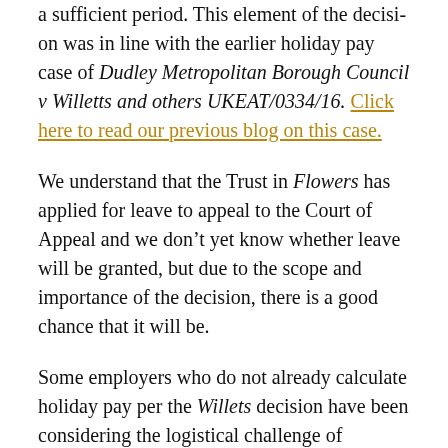a sufficient period. This element of the decision was in line with the earlier holiday pay case of Dudley Metropolitan Borough Council v Willetts and others UKEAT/0334/16. Click here to read our previous blog on this case.
We understand that the Trust in Flowers has applied for leave to appeal to the Court of Appeal and we don't yet know whether leave will be granted, but due to the scope and importance of the decision, there is a good chance that it will be.
Some employers who do not already calculate holiday pay per the Willets decision have been considering the logistical challenge of monitoring regularity and frequency of overtime and of paying WTD holiday differently from the purely contractual entitlement